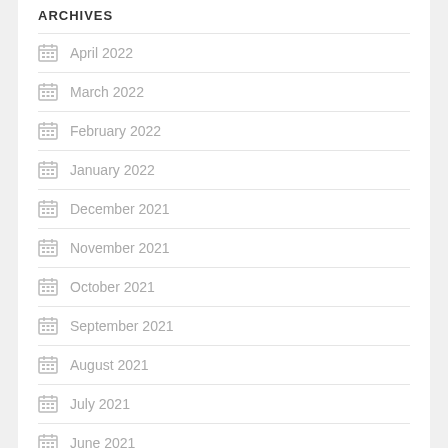ARCHIVES
April 2022
March 2022
February 2022
January 2022
December 2021
November 2021
October 2021
September 2021
August 2021
July 2021
June 2021